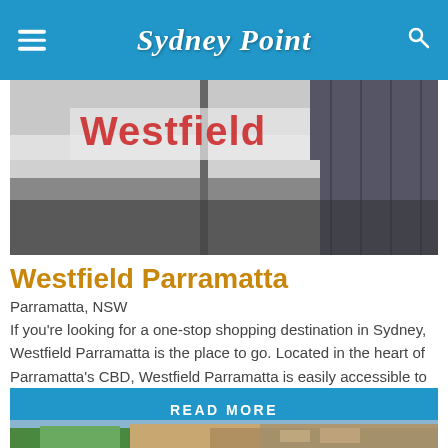Sydney Point
[Figure (photo): Exterior photo of Westfield shopping centre showing the red Westfield logo signage on a white and dark building facade]
Westfield Parramatta
Parramatta, NSW
If you're looking for a one-stop shopping destination in Sydney, Westfield Parramatta is the place to go. Located in the heart of Parramatta's CBD, Westfield Parramatta is easily accessible to everyone...
READ MORE
[Figure (photo): Partial photo of another location, showing trees and a building facade at the bottom of the page]